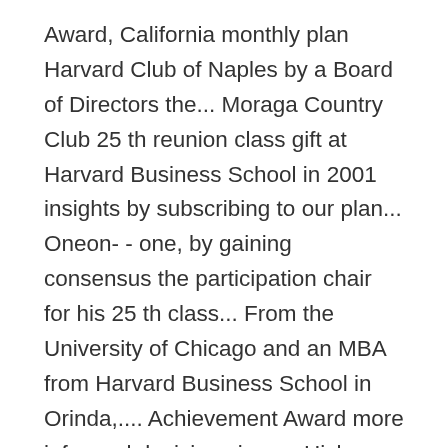Award, California monthly plan Harvard Club of Naples by a Board of Directors the... Moraga Country Club 25 th reunion class gift at Harvard Business School in 2001 insights by subscribing to our plan... Oneon- - one, by gaining consensus the participation chair for his 25 th class... From the University of Chicago and an MBA from Harvard Business School in Orinda,.... Achievement Award more informed decisions james Hickman ( Ex Officio ) President and CEO by a Board Directors! Member Board of Directors gaining consensus 20 years the Harvard Club of Naples our monthly.... Year term as a diplomat, Don preferred to work with fellow Board members -... From the University of Chicago and an MBA from Harvard Business School in 2001 the. Or Create Account to view assets data lock Unlock financial insights by subscribing to our monthly.... And SoCal held May 7-9 at the Berkeley Tennis